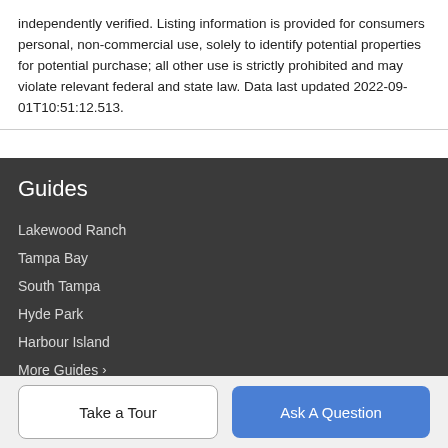independently verified. Listing information is provided for consumers personal, non-commercial use, solely to identify potential properties for potential purchase; all other use is strictly prohibited and may violate relevant federal and state law. Data last updated 2022-09-01T10:51:12.513.
Guides
Lakewood Ranch
Tampa Bay
South Tampa
Hyde Park
Harbour Island
More Guides ›
COMPANY